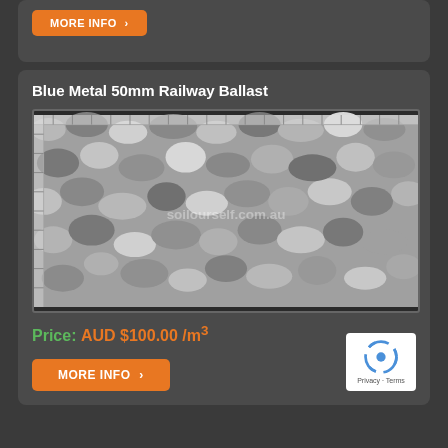[Figure (other): Orange MORE INFO button with arrow at top of page]
Blue Metal 50mm Railway Ballast
[Figure (photo): Photo of blue metal 50mm railway ballast gravel/crushed rock, grey stones of various sizes, with soilourself.com.au watermark]
Price: AUD $100.00 /m³
[Figure (other): Orange MORE INFO button with arrow]
[Figure (other): reCAPTCHA badge with Privacy and Terms text]